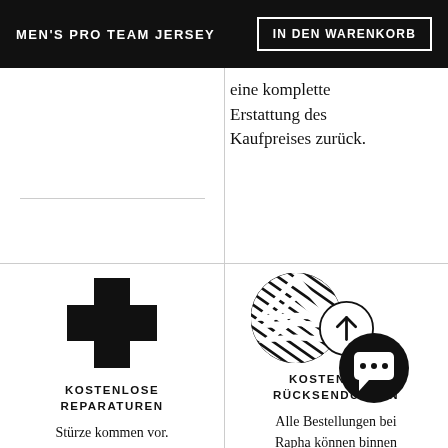MEN'S PRO TEAM JERSEY | IN DEN WARENKORB
eine komplette Erstattung des Kaufpreises zurück.
[Figure (illustration): Black cross/plus icon representing kostenlose Reparaturen]
KOSTENLOSE REPARATUREN
Stürze kommen vor. Wenn du einen hast,
[Figure (illustration): Striped circle Rapha logo with arrow circle and chat bubble circle representing kostenlose Rücksendungen]
KOSTENLOSE RÜCKSENDUNGEN
Alle Bestellungen bei Rapha können binnen